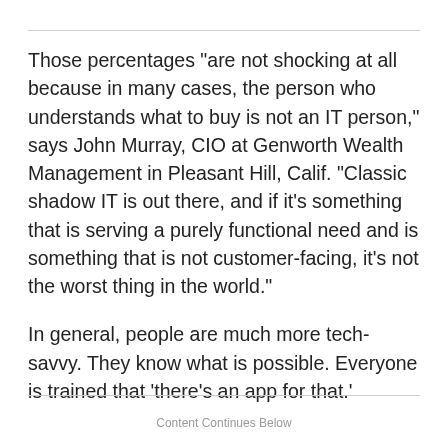Those percentages "are not shocking at all because in many cases, the person who understands what to buy is not an IT person," says John Murray, CIO at Genworth Wealth Management in Pleasant Hill, Calif. "Classic shadow IT is out there, and if it's something that is serving a purely functional need and is something that is not customer-facing, it's not the worst thing in the world."
In general, people are much more tech-savvy. They know what is possible. Everyone is trained that 'there's an app for that.'
Content Continues Below